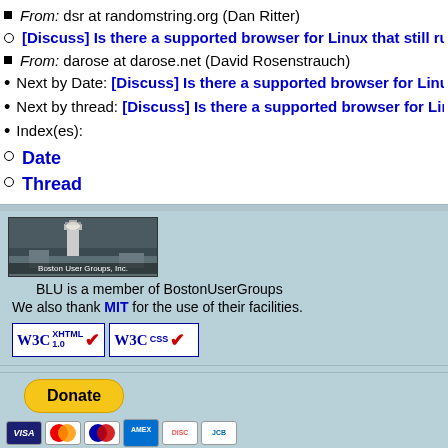From: dsr at randomstring.org (Dan Ritter)
[Discuss] Is there a supported browser for Linux that still runs
From: darose at darose.net (David Rosenstrauch)
Next by Date: [Discuss] Is there a supported browser for Linux
Next by thread: [Discuss] Is there a supported browser for Linu
Index(es):
Date
Thread
[Figure (photo): Boston User Groups Inc. lighthouse image with logo]
BLU is a member of BostonUserGroups
We also thank MIT for the use of their facilities.
[Figure (logo): W3C XHTML 1.0 validation badge]
[Figure (logo): W3C CSS validation badge]
[Figure (other): PayPal Donate button]
[Figure (other): Credit card logos: VISA, Mastercard, Maestro, Amex, Discover, JCB]
Boston Linux & Unix / webmaster@blu.org